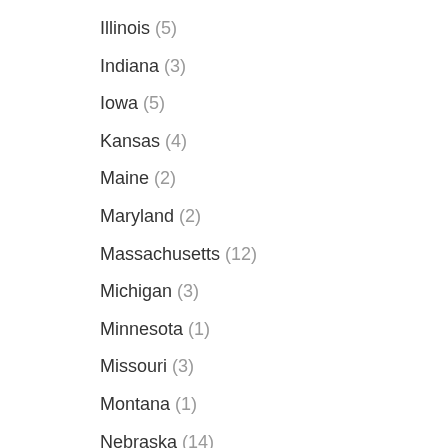Illinois (5)
Indiana (3)
Iowa (5)
Kansas (4)
Maine (2)
Maryland (2)
Massachusetts (12)
Michigan (3)
Minnesota (1)
Missouri (3)
Montana (1)
Nebraska (14)
Nevada (5)